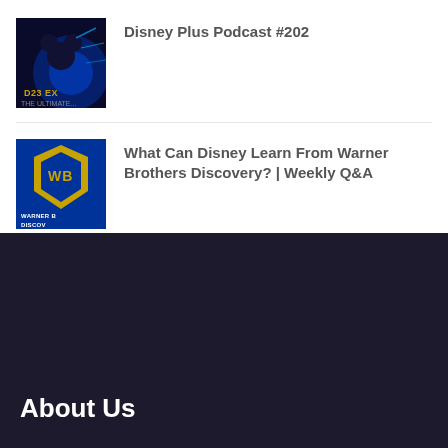[Figure (photo): D23 Expo Disney Plus podcast thumbnail showing Mickey Mouse with blue magical background and D23 Expo logo]
Disney Plus Podcast #202
[Figure (photo): Warner Bros Discovery logo on blue background showing the WB shield in gold and text WARNER BROS DISCOVERY]
What Can Disney Learn From Warner Brothers Discovery? | Weekly Q&A
About Us